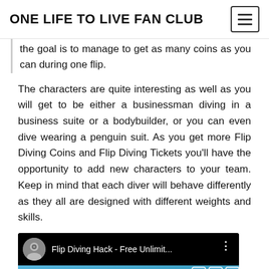ONE LIFE TO LIVE FAN CLUB
the goal is to manage to get as many coins as you can during one flip.
The characters are quite interesting as well as you will get to be either a businessman diving in a business suite or a bodybuilder, or you can even dive wearing a penguin suit. As you get more Flip Diving Coins and Flip Diving Tickets you'll have the opportunity to add new characters to your team. Keep in mind that each diver will behave differently as they all are designed with different weights and skills.
[Figure (screenshot): YouTube video thumbnail showing 'Flip Diving Hack - Free Unlimit...' with a channel avatar and video preview with blue gradient background and graphic elements.]